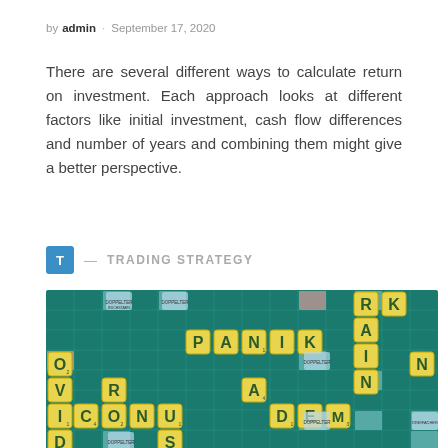by admin · September 17, 2020
There are several different ways to calculate return on investment. Each approach looks at different factors like initial investment, cash flow differences and number of years and combining them might give a better perspective.
T — TRADING STRATEGY
[Figure (photo): Photo of a Scrabble board with yellow letter tiles spelling out COVID, PANIK, CORONA, PANDEM and related words on a green grid board, suggesting pandemic-related trading themes.]